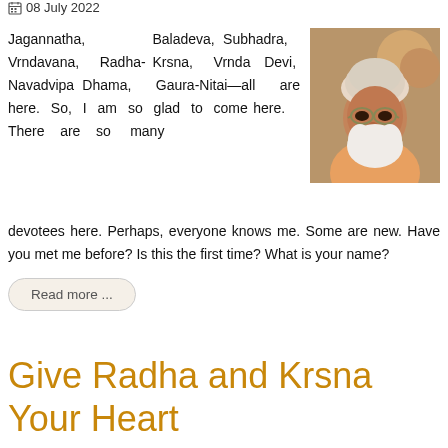08 July 2022
Jagannatha, Baladeva, Subhadra, Vrndavana, Radha-Krsna, Vrnda Devi, Navadvipa Dhama, Gaura-Nitai—all are here. So, I am so glad to come here. There are so many devotees here. Perhaps, everyone knows me. Some are new. Have you met me before? Is this the first time? What is your name?
[Figure (photo): Portrait photo of an elderly man wearing a light pink/beige knit cap and glasses, with white beard, looking slightly downward.]
Read more ...
Give Radha and Krsna Your Heart